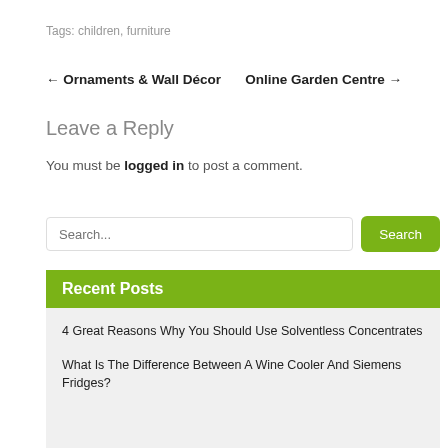Tags: children, furniture
← Ornaments & Wall Décor    Online Garden Centre →
Leave a Reply
You must be logged in to post a comment.
Search...  Search
Recent Posts
4 Great Reasons Why You Should Use Solventless Concentrates
What Is The Difference Between A Wine Cooler And Siemens Fridges?